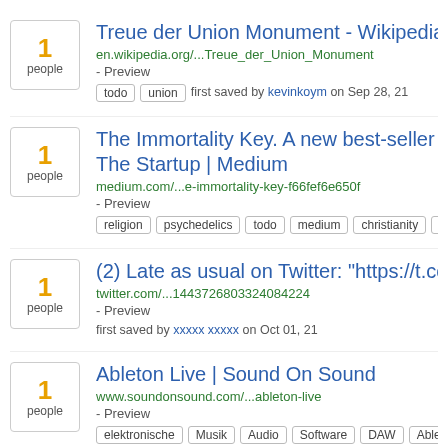1 people | Treue der Union Monument - Wikipedia | en.wikipedia.org/...Treue_der_Union_Monument - Preview | tags: todo, union | first saved by kevinkoym on Sep 28, 21
1 people | The Immortality Key. A new best-seller sh... The Startup | Medium | medium.com/...e-immortality-key-f66fef6e650f - Preview | tags: religion, psychedelics, todo, medium, christianity | e
1 people | (2) Late as usual on Twitter: "https://t.co/9... | twitter.com/...1443726803324084224 - Preview | first saved by xxxxx xxxxx on Oct 01, 21
1 people | Ableton Live | Sound On Sound | www.soundonsound.com/...ableton-live - Preview | tags: elektronische, Musik, Audio, Software, DAW, Ablet... | saved by Oliver Kurz on Oct 07, 21